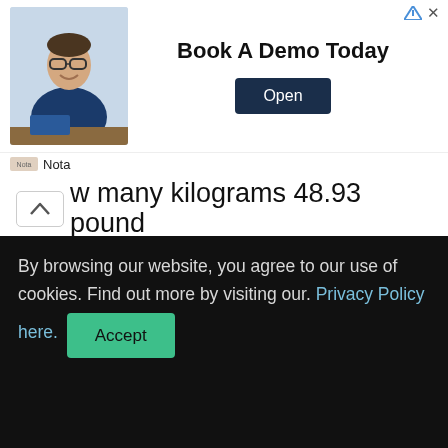[Figure (infographic): Advertisement banner: man in glasses sitting at desk, text 'Book A Demo Today', Open button, Nota branding]
how many kilograms 48.93 pound
Now you know how to convert 48.93 kilograms how much pounds but we are going to show you something more. Are you interested what it is? What do you say about 48.93 kilogram to pounds and ounces calculation?
We want to show you how you can convert it step by step.
Let's start. How much is 48.93 kg in lbs and oz?
By browsing our website, you agree to our use of cookies. Find out more by visiting our. Privacy Policy here.  Accept
2.20462262 pounds.